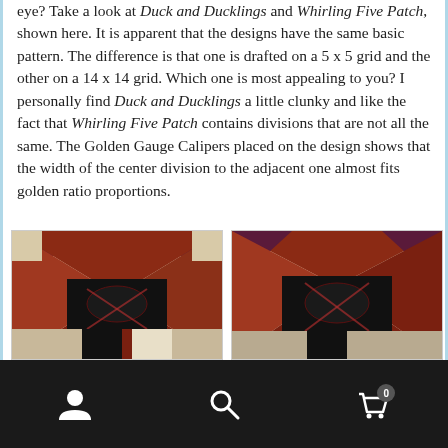eye? Take a look at Duck and Ducklings and Whirling Five Patch, shown here. It is apparent that the designs have the same basic pattern. The difference is that one is drafted on a 5 x 5 grid and the other on a 14 x 14 grid. Which one is most appealing to you? I personally find Duck and Ducklings a little clunky and like the fact that Whirling Five Patch contains divisions that are not all the same. The Golden Gauge Calipers placed on the design shows that the width of the center division to the adjacent one almost fits golden ratio proportions.
[Figure (photo): Two quilt block images side by side showing Duck and Ducklings and Whirling Five Patch patterns with dark red, brown, black and cream colored fabric pieces arranged in geometric patterns.]
Navigation bar with user icon, search icon, and shopping cart icon with badge showing 0